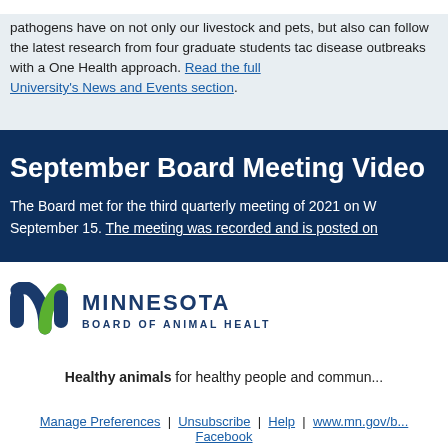pathogens have on not only our livestock and pets, but also can follow the latest research from four graduate students tac disease outbreaks with a One Health approach. Read the full University's News and Events section.
September Board Meeting Video
The Board met for the third quarterly meeting of 2021 on W September 15. The meeting was recorded and is posted on...
[Figure (logo): Minnesota Board of Animal Health logo with green and dark blue M icon and text]
Healthy animals for healthy people and communities
Manage Preferences | Unsubscribe | Help | www.mn.gov/b... Facebook